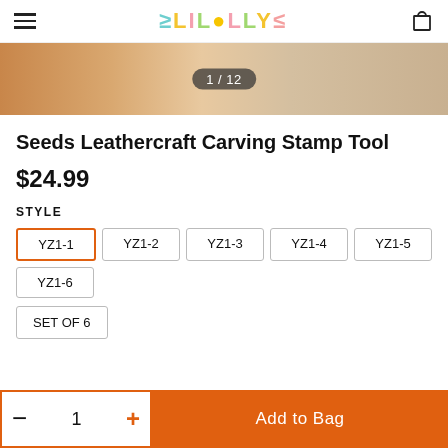≥LIL●LLY≤ [navigation header with hamburger menu and cart icon]
[Figure (photo): Close-up product photo of leathercraft tool on leather background, showing image counter 1/12]
Seeds Leathercraft Carving Stamp Tool
$24.99
STYLE
YZ1-1 (selected), YZ1-2, YZ1-3, YZ1-4, YZ1-5, YZ1-6
SET OF 6
– 1 +  Add to Bag